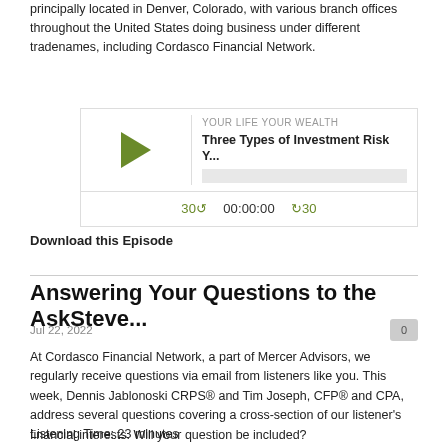principally located in Denver, Colorado, with various branch offices throughout the United States doing business under different tradenames, including Cordasco Financial Network.
[Figure (screenshot): Audio podcast player widget showing 'YOUR LIFE YOUR WEALTH' label, title 'Three Types of Investment Risk Y...', a play button triangle, progress bar, and controls showing '30↺ 00:00:00 ↻30']
Download this Episode
Answering Your Questions to the AskSteve...
Jul 22, 2022
At Cordasco Financial Network, a part of Mercer Advisors, we regularly receive questions via email from listeners like you. This week, Dennis Jablonoski CRPS® and Tim Joseph, CFP® and CPA, address several questions covering a cross-section of our listener's financial interests. Will your question be included?
Listening Time: 23 minutes